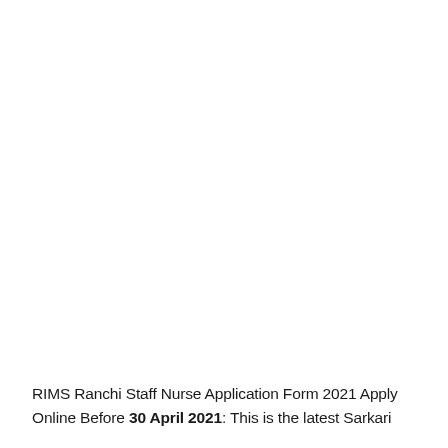RIMS Ranchi Staff Nurse Application Form 2021 Apply Online Before 30 April 2021: This is the latest Sarkari